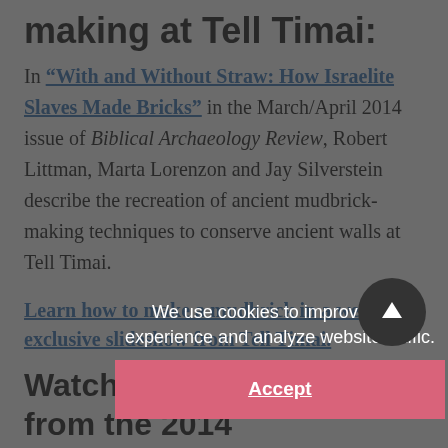making at Tell Timai:
In “With and Without Straw: How Israelite Slaves Made Bricks” in the March/April 2014 issue of Biblical Archaeology Review, Robert Littman, Marta Lorenzon and Jay Silverstein describe the recreation of ancient mudbrick-making techniques to conserve ancient walls at Tell Timai.
Learn how to make a mudbrick in a web-exclusive slideshow from Tell Timai.
Watch exclusive videos from the 2014 excavations at Tell Timai:
Week One: Tell Timai archaeologists provide a look at their dig site and their research goals for the 2014...